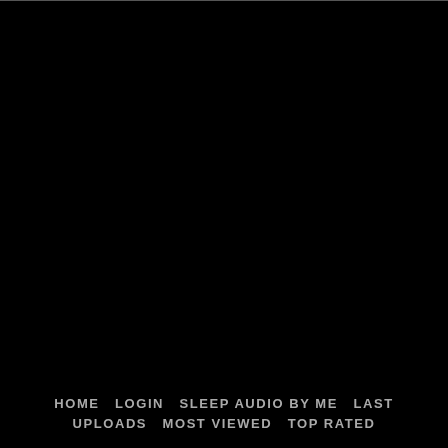HOME   LOGIN   SLEEP AUDIO BY ME   LAST UPLOADS   MOST VIEWED   TOP RATED